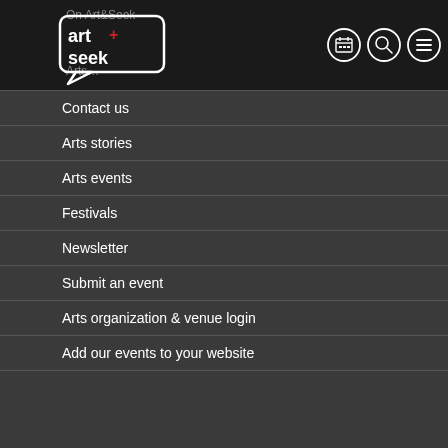On Art&Seek
[Figure (logo): Art+Seek logo: speech bubble with 'art+seek' text inside]
Contact us
Arts stories
Arts events
Festivals
Newsletter
Submit an event
Arts organization & venue login
Add our events to your website